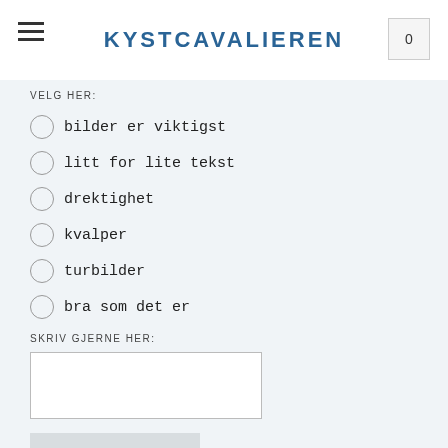KYSTCAVALIEREN
VELG HER:
bilder er viktigst
litt for lite tekst
drektighet
kvalper
turbilder
bra som det er
SKRIV GJERNE HER:
WOOF!